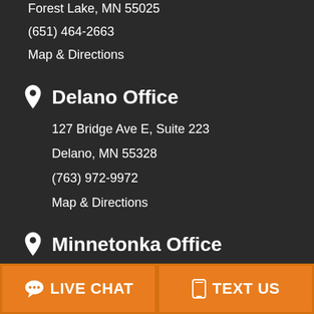Forest Lake, MN 55025
(651) 464-2663
Map & Directions
Delano Office
127 Bridge Ave E, Suite 223
Delano, MN 55328
(763) 972-9972
Map & Directions
Minnetonka Office
17800 Excelsior Blvd
LIVE CHAT
TEXT US